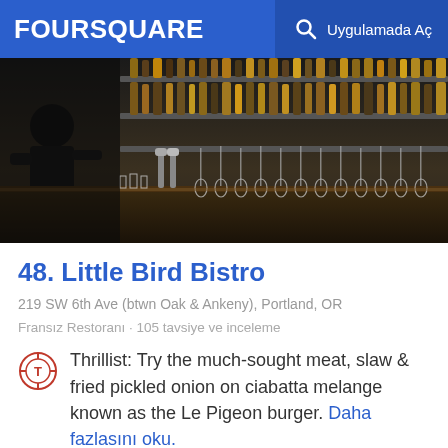FOURSQUARE   Uygulamada Aç
[Figure (photo): Interior bar scene with a person sitting at the bar, shelves of liquor bottles in background, glassware hanging and on the bar counter]
48. Little Bird Bistro
219 SW 6th Ave (btwn Oak & Ankeny), Portland, OR
Fransız Restoranı · 105 tavsiye ve inceleme
Thrillist: Try the much-sought meat, slaw & fried pickled onion on ciabatta melange known as the Le Pigeon burger. Daha fazlasını oku.